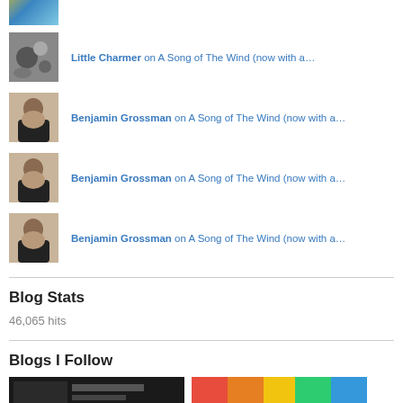[Figure (photo): Partial avatar image at top (cropped)]
Little Charmer on A Song of The Wind (now with a…
Benjamin Grossman on A Song of The Wind (now with a…
Benjamin Grossman on A Song of The Wind (now with a…
Benjamin Grossman on A Song of The Wind (now with a…
Blog Stats
46,065 hits
Blogs I Follow
[Figure (photo): Two blog thumbnail images at bottom]